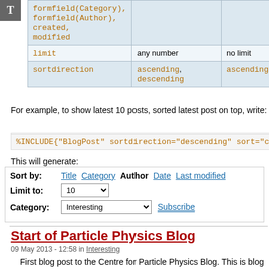| Parameter | Values | Default |
| --- | --- | --- |
| formfield(Category), formfield(Author), created, modified |  |  |
| limit | any number | no limit |
| sortdirection | ascending, descending | ascending |
For example, to show latest 10 posts, sorted latest post on top, write:
%INCLUDE{"BlogPost" sortdirection="descending" sort="crea
This will generate:
[Figure (screenshot): UI mockup showing Sort by controls (Title, Category, Author, Date, Last modified), Limit to dropdown set to 10, Category dropdown set to Interesting, and Subscribe link]
Start of Particle Physics Blog
09 May 2013 - 12:58 in Interesting
First blog post to the Centre for Particle Physics Blog. This is blog for the entire group to write and contribute to. The posts can be Interesting ideas in particle physics News and